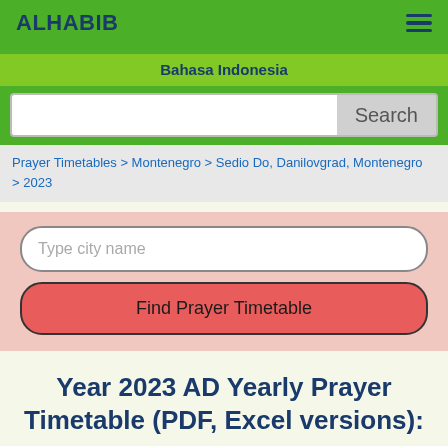ALHABIB
Bahasa Indonesia
Search
Prayer Timetables > Montenegro > Sedio Do, Danilovgrad, Montenegro > 2023
Type city name
Find Prayer Timetable
Year 2023 AD Yearly Prayer Timetable (PDF, Excel versions):